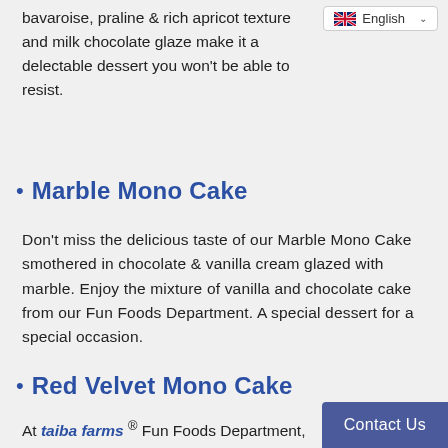bavaroise, praline & rich apricot texture and milk chocolate glaze make it a delectable dessert you won't be able to resist.
Marble Mono Cake
Don't miss the delicious taste of our Marble Mono Cake smothered in chocolate & vanilla cream glazed with marble. Enjoy the mixture of vanilla and chocolate cake from our Fun Foods Department. A special dessert for a special occasion.
Red Velvet Mono Cake
At taiba farms ® Fun Foods Department,